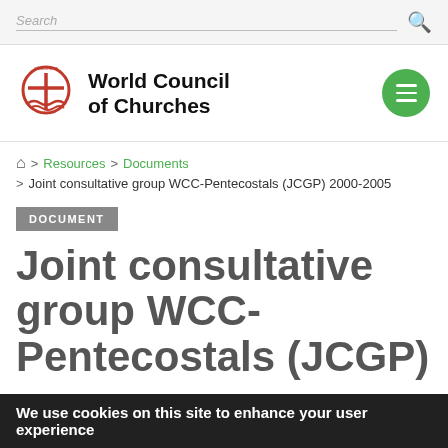Search
[Figure (logo): World Council of Churches logo with oikoumene circular emblem and cross]
World Council of Churches
Resources > Documents > Joint consultative group WCC-Pentecostals (JCGP) 2000-2005
DOCUMENT
Joint consultative group WCC-Pentecostals (JCGP)
We use cookies on this site to enhance your user experience